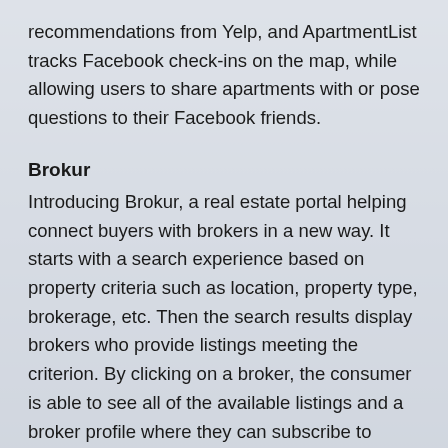recommendations from Yelp, and ApartmentList tracks Facebook check-ins on the map, while allowing users to share apartments with or pose questions to their Facebook friends.
Brokur
Introducing Brokur, a real estate portal helping connect buyers with brokers in a new way. It starts with a search experience based on property criteria such as location, property type, brokerage, etc. Then the search results display brokers who provide listings meeting the criterion. By clicking on a broker, the consumer is able to see all of the available listings and a broker profile where they can subscribe to follow the broker's activity. Further, each broker's profile on